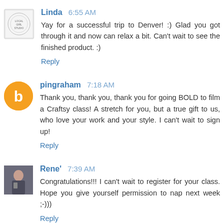Linda 6:55 AM
Yay for a successful trip to Denver! :) Glad you got through it and now can relax a bit. Can't wait to see the finished product. :)
Reply
pingraham 7:18 AM
Thank you, thank you, thank you for going BOLD to film a Craftsy class! A stretch for you, but a true gift to us, who love your work and your style. I can't wait to sign up!
Reply
Rene' 7:39 AM
Congratulations!!! I can't wait to register for your class. Hope you give yourself permission to nap next week ;-)))
Reply